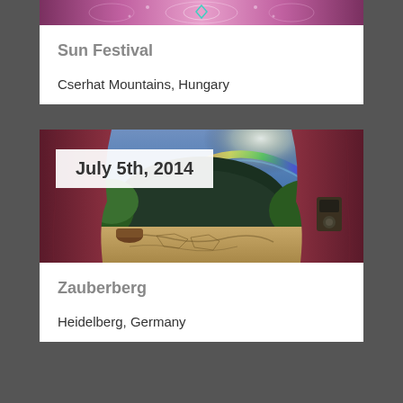[Figure (illustration): Top portion of Sun Festival event card showing decorative purple/pink festival artwork with a diamond/heart symbol]
Sun Festival
Cserhat Mountains, Hungary
[Figure (illustration): Zauberberg festival event image showing a fantasy landscape with rainbow, mountains, stage curtains, and a map in the foreground. Overlaid with date badge showing July 5th, 2014]
Zauberberg
Heidelberg, Germany